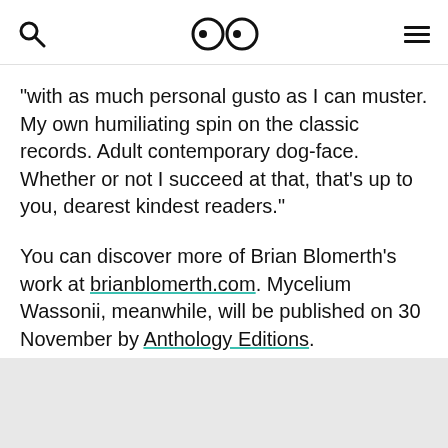[search icon] [eyes logo] [menu icon]
"with as much personal gusto as I can muster. My own humiliating spin on the classic records. Adult contemporary dog-face. Whether or not I succeed at that, that's up to you, dearest kindest readers."
You can discover more of Brian Blomerth's work at brianblomerth.com. Mycelium Wassonii, meanwhile, will be published on 30 November by Anthology Editions.